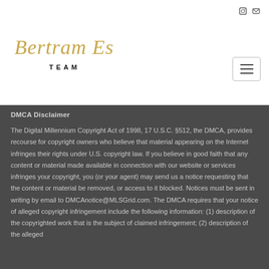[Figure (logo): Bertram Estates Team logo with gold cursive script and bold TEAM text]
DMCA Disclaimer
The Digital Millennium Copyright Act of 1998, 17 U.S.C. §512, the DMCA, provides recourse for copyright owners who believe that material appearing on the Internet infringes their rights under U.S. copyright law. If you believe in good faith that any content or material made available in connection with our website or services infringes your copyright, you (or your agent) may send us a notice requesting that the content or material be removed, or access to it blocked. Notices must be sent in writing by email to DMCAnotice@MLSGrid.com. The DMCA requires that your notice of alleged copyright infringement include the following information: (1) description of the copyrighted work that is the subject of claimed infringement; (2) description of the alleged